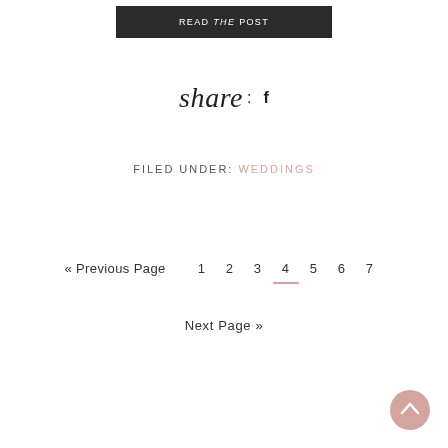READ THE POST
share: f
FILED UNDER: WEDDINGS
« Previous Page  1  2  3  4  5  6  7
Next Page »